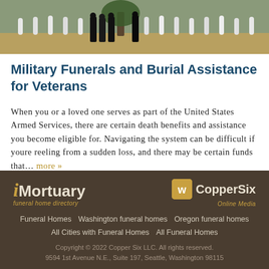[Figure (photo): Military funeral scene at a cemetery with uniformed figures standing among rows of white grave markers and a tree in the background]
Military Funerals and Burial Assistance for Veterans
When you or a loved one serves as part of the United States Armed Services, there are certain death benefits and assistance you become eligible for. Navigating the system can be difficult if youre reeling from a sudden loss, and there may be certain funds that… more »
[Figure (logo): iMortuary funeral home directory logo]
[Figure (logo): CopperSix Online Media logo with gold badge]
Funeral Homes   Washington funeral homes   Oregon funeral homes   All Cities with Funeral Homes   All Funeral Homes   Copyright © 2022 Copper Six LLC. All rights reserved.   9594 1st Avenue N.E., Suite 197, Seattle, Washington 98115